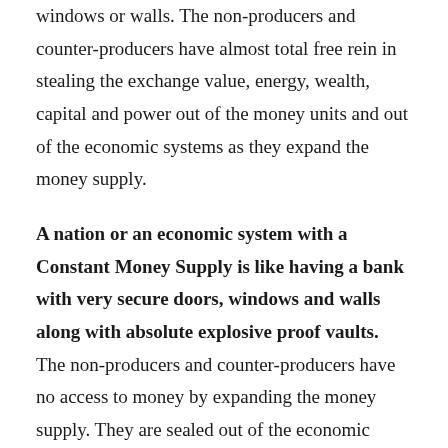windows or walls.  The non-producers and counter-producers have almost total free rein in stealing the exchange value, energy, wealth, capital and power out of the money units and out of the economic systems as they expand the money supply.
A nation or an economic system with a Constant Money Supply is like having a bank with very secure doors, windows and walls along with absolute explosive proof vaults.  The non-producers and counter-producers have no access to money by expanding the money supply.  They are sealed out of the economic system and out of the wallets and purses of the Producers.  The only way they can have access to money is when they become Producers.  They become Producers by creating commodities,